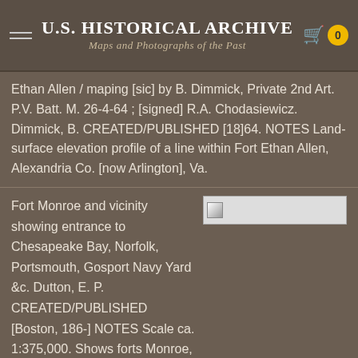U.S. Historical Archive — Maps and Photographs of the Past
Ethan Allen / maping [sic] by B. Dimmick, Private 2nd Art. P.V. Batt. M. 26-4-64 ; [signed] R.A. Chodasiewicz. Dimmick, B. CREATED/PUBLISHED [18]64. NOTES Land-surface elevation profile of a line within Fort Ethan Allen, Alexandria Co. [now Arlington], Va.
Fort Monroe and vicinity showing entrance to Chesapeake Bay, Norfolk, Portsmouth, Gosport Navy Yard &c. Dutton, E. P. CREATED/PUBLISHED [Boston, 186-] NOTES Scale ca. 1:375,000. Shows forts Monroe, Calhoun, Nelson, and Norfolk, Confederate batteries on